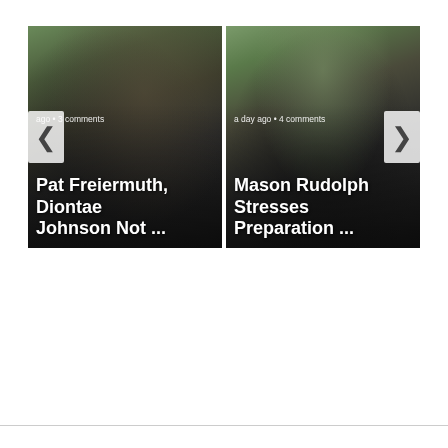[Figure (photo): Carousel of two NFL video/article thumbnails. Left card shows Pittsburgh Steelers players from behind on a football field with text 'Pat Freiermuth, Diontae Johnson Not ...' and metadata 'ago • 3 comments'. Left navigation arrow visible. Right card shows football game action with text 'Mason Rudolph Stresses Preparation ...' and metadata 'a day ago • 4 comments'. Right navigation arrow visible.]